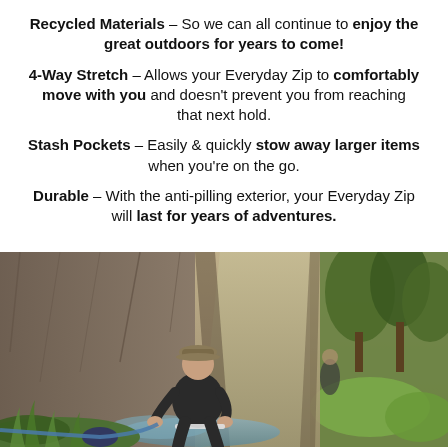Recycled Materials – So we can all continue to enjoy the great outdoors for years to come!
4-Way Stretch – Allows your Everyday Zip to comfortably move with you and doesn't prevent you from reaching that next hold.
Stash Pockets – Easily & quickly stow away larger items when you're on the go.
Durable – With the anti-pilling exterior, your Everyday Zip will last for years of adventures.
[Figure (photo): Outdoor scene showing a person in a dark zip-up hoodie and cap crouching near a rocky stream, with lush green vegetation and rocky canyon walls in the background.]